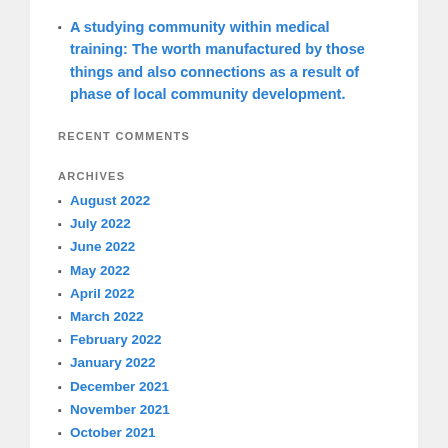A studying community within medical training: The worth manufactured by those things and also connections as a result of phase of local community development.
RECENT COMMENTS
ARCHIVES
August 2022
July 2022
June 2022
May 2022
April 2022
March 2022
February 2022
January 2022
December 2021
November 2021
October 2021
September 2021